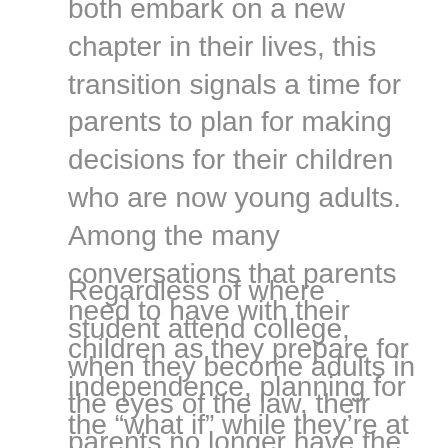both embark on a new chapter in their lives, this transition signals a time for parents to plan for making decisions for their children who are now young adults. Among the many conversations that parents need to have with their children as they prepare for independence, planning for the “what if” while they’re at college is one of the most important.
Regardless of where student attend college, when they become adults in the eyes of the law, their parents no longer have the legal right to make decisions regarding their care or finances should